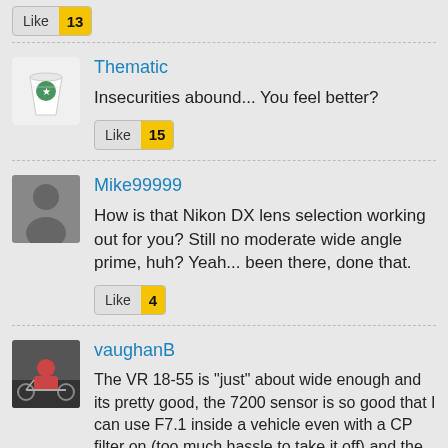[Figure (other): Like button with count 13]
[Figure (other): Avatar for Thematic (Starbucks cup illustration)]
Thematic
Insecurities abound... You feel better?
[Figure (other): Like button with count 15]
[Figure (other): Avatar for Mike99999 (generic user silhouette)]
Mike99999
How is that Nikon DX lens selection working out for you? Still no moderate wide angle prime, huh? Yeah... been there, done that.
[Figure (other): Like button with count 4]
[Figure (photo): Avatar for vaughanB (person on motorcycle)]
vaughanB
The VR 18-55 is "just" about wide enough and its pretty good, the 7200 sensor is so good that I can use F7.1 inside a vehicle even with a CP filter on (too much hassle to take it off) and the camera ramps up the ISO and the shots still